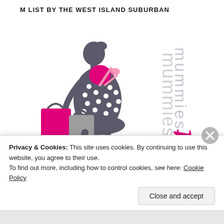M LIST BY THE WEST ISLAND SUBURBAN
[Figure (logo): Mummies List logo featuring a stylish woman in a polka-dot dress carrying pink and grey shopping bags, with 'mummies' text vertically alongside her, and 'list The Suburban' text in pink and red on the right side.]
Privacy & Cookies: This site uses cookies. By continuing to use this website, you agree to their use.
To find out more, including how to control cookies, see here: Cookie Policy
Close and accept